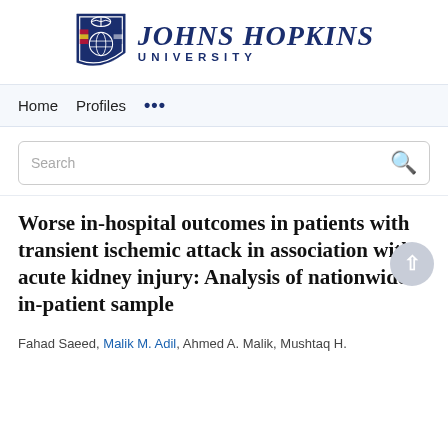[Figure (logo): Johns Hopkins University logo with shield and university name]
Home   Profiles   ...
Search
Worse in-hospital outcomes in patients with transient ischemic attack in association with acute kidney injury: Analysis of nationwide in-patient sample
Fahad Saeed, Malik M. Adil, Ahmed A. Malik, Mushtaq H.